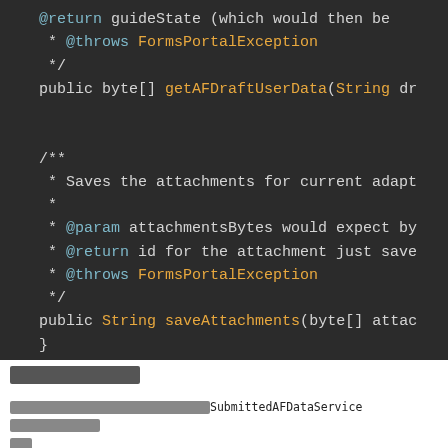[Figure (screenshot): Code screenshot showing Java interface code with Javadoc comments. Dark background (#2b2b2b). Shows @return, @throws FormsPortalException, closing comment, public byte[] getAFDraftUserData(String dr..., then a new Javadoc block: /** * Saves the attachments for current adapt... * * @param attachmentsBytes would expect by... * @return id for the attachment just save... * @throws FormsPortalException */ public String saveAttachments(byte[] attac... }]
XXXXXX
XXXXXXXXXXXXXXXXXXSubmittedAFDataServiceXXXXXXXXXX